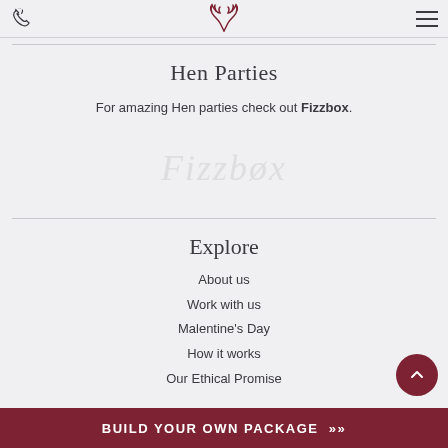Phone icon | Antler logo | Menu icon
Hen Parties
For amazing Hen parties check out Fizzbox.
[Figure (illustration): Faded watermark-style cursive text in light gray]
Explore
About us
Work with us
Malentine's Day
How it works
Our Ethical Promise
BUILD YOUR OWN PACKAGE »